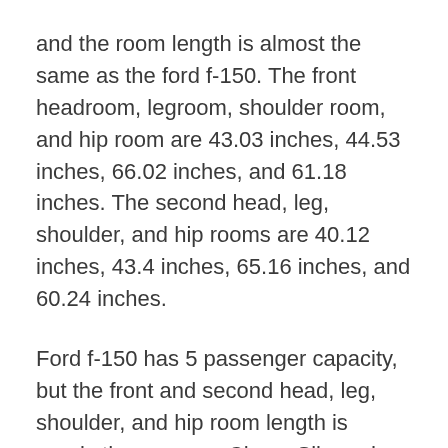and the room length is almost the same as the ford f-150. The front headroom, legroom, shoulder room, and hip room are 43.03 inches, 44.53 inches, 66.02 inches, and 61.18 inches. The second head, leg, shoulder, and hip rooms are 40.12 inches, 43.4 inches, 65.16 inches, and 60.24 inches.
Ford f-150 has 5 passenger capacity, but the front and second head, leg, shoulder, and hip room length is nearly the same as Chevy Silverado.
Infotainment